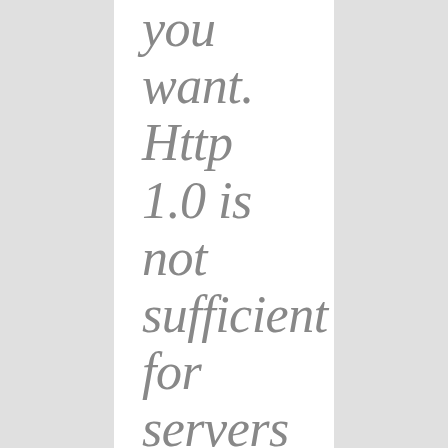you want. Http 1.0 is not sufficient for servers that use